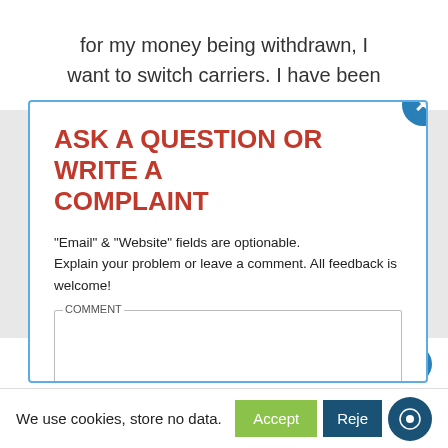for my money being withdrawn, I want to switch carriers. I have been
ASK A QUESTION OR WRITE A COMPLAINT
"Email" & "Website" fields are optionable. Explain your problem or leave a comment. All feedback is welcome!
COMMENT
NAME
EMAIL
(and more) within one company:
We use cookies, store no data.